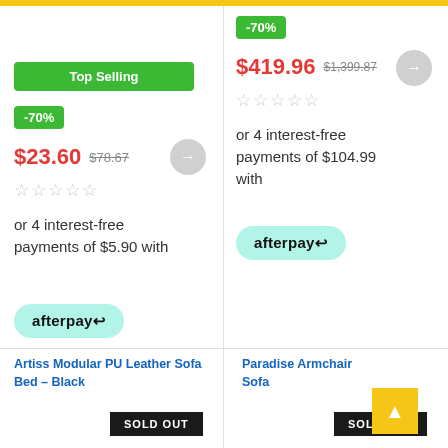Top Selling
-70%
$23.60  $78.67
or 4 interest-free payments of $5.90 with afterpay
-70%
$419.96  $1,399.87
or 4 interest-free payments of $104.99 with afterpay
Artiss Modular PU Leather Sofa Bed – Black
Paradise Armchair Sofa
SOLD OUT
SOLD OUT